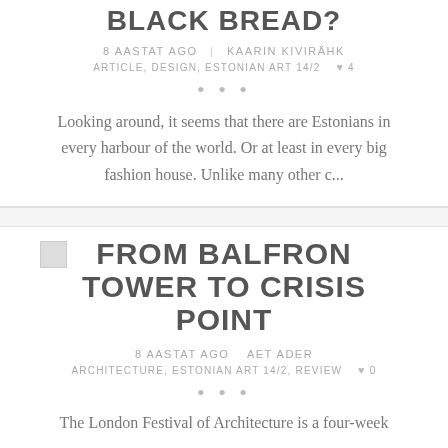BLACK BREAD?
8 AASTAT AGO   KAARIN KIVIRÄHK
ARTICLE, DESIGN, ESTONIAN ART 14/2   ♥ 4
• • •
Looking around, it seems that there are Estonians in every harbour of the world. Or at least in every big fashion house. Unlike many other c...
FROM BALFRON TOWER TO CRISIS POINT
8 AASTAT AGO   AET ADER
ARCHITECTURE, ESTONIAN ART 14/2, REVIEW   ♥ 0
• • •
The London Festival of Architecture is a four-week